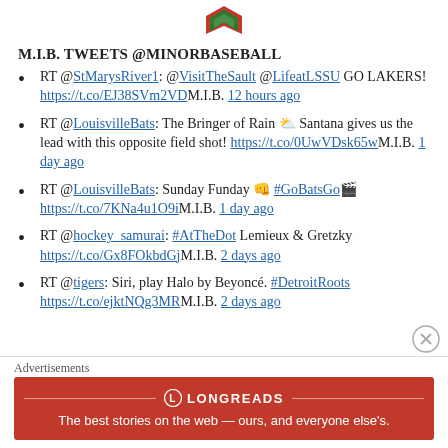[Figure (logo): Green and red diamond/shield shaped logo at top center]
M.I.B. TWEETS @MINORBASEBALL
RT @StMarysRiver1: @VisitTheSault @LifeatLSSU GO LAKERS! https://t.co/EJ38SVm2VD M.I.B. 12 hours ago
RT @LouisvilleBats: The Bringer of Rain ⛅ Santana gives us the lead with this opposite field shot! https://t.co/0UwVDsk65w M.I.B. 1 day ago
RT @LouisvilleBats: Sunday Funday 👊 #GoBatsGo 🎬 https://t.co/7KNa4u1O9i M.I.B. 1 day ago
RT @hockey_samurai: #AtTheDot Lemieux & Gretzky https://t.co/Gx8FOkbdGj M.I.B. 2 days ago
RT @tigers: Siri, play Halo by Beyoncé. #DetroitRoots https://t.co/ejktNQg3MR M.I.B. 2 days ago
Advertisements
[Figure (logo): Longreads advertisement — red banner with Longreads logo and tagline: The best stories on the web — ours, and everyone else's.]